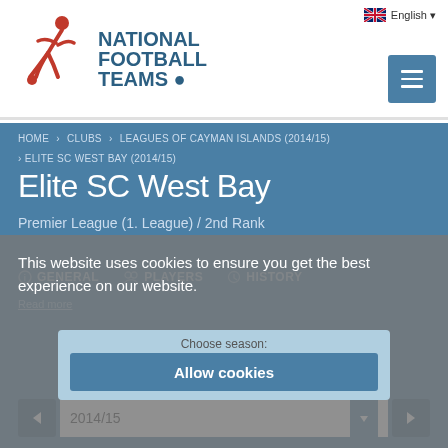[Figure (logo): National Football Teams website logo with running footballer icon in red and blue text]
English ▾
HOME > CLUBS > LEAGUES OF CAYMAN ISLANDS (2014/15) > ELITE SC WEST BAY (2014/15)
Elite SC West Bay
Premier League (1. League) / 2nd Rank
This website uses cookies to ensure you get the best experience on our website.
GENERAL   PLAYERS   HISTORY
Read more
Choose season:
Allow cookies
2014/15